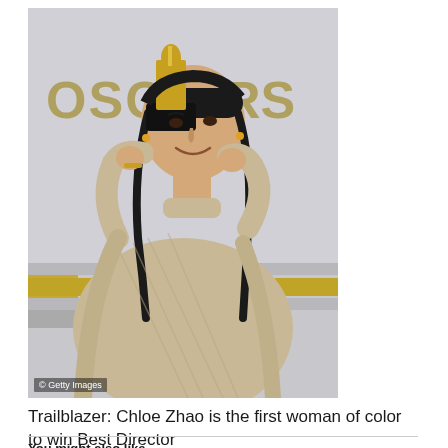[Figure (photo): Chloe Zhao standing and holding an Oscar statuette in front of an Oscars backdrop. She is wearing a beige ribbed knit wrap outfit with two braids. A Getty Images watermark appears in the lower left of the photo.]
Trailblazer: Chloe Zhao is the first woman of color to win Best Director
You might also like